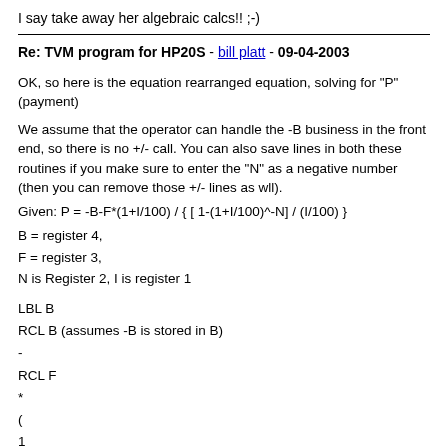I say take away her algebraic calcs!! ;-)
Re: TVM program for HP20S - bill platt - 09-04-2003
OK, so here is the equation rearranged equation, solving for "P" (payment)
We assume that the operator can handle the -B business in the front end, so there is no +/- call. You can also save lines in both these routines if you make sure to enter the "N" as a negative number (then you can remove those +/- lines as wll).
B = register 4,
F = register 3,
N is Register 2, I is register 1
LBL B
RCL B (assumes -B is stored in B)
-
RCL F
*
(
1
+
RCL I